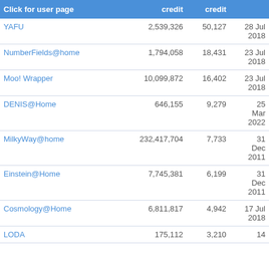| Click for user page | credit | credit |  |
| --- | --- | --- | --- |
| YAFU | 2,539,326 | 50,127 | 28 Jul 2018 |
| NumberFields@home | 1,794,058 | 18,431 | 23 Jul 2018 |
| Moo! Wrapper | 10,099,872 | 16,402 | 23 Jul 2018 |
| DENIS@Home | 646,155 | 9,279 | 25 Mar 2022 |
| MilkyWay@home | 232,417,704 | 7,733 | 31 Dec 2011 |
| Einstein@Home | 7,745,381 | 6,199 | 31 Dec 2011 |
| Cosmology@Home | 6,811,817 | 4,942 | 17 Jul 2018 |
| LODA | 175,112 | 3,210 | 14 |